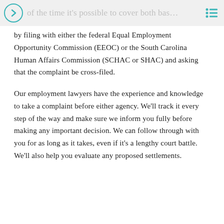of the time it's possible to cover both bas…
by filing with either the federal Equal Employment Opportunity Commission (EEOC) or the South Carolina Human Affairs Commission (SCHAC or SHAC) and asking that the complaint be cross-filed.
Our employment lawyers have the experience and knowledge to take a complaint before either agency. We'll track it every step of the way and make sure we inform you fully before making any important decision. We can follow through with you for as long as it takes, even if it's a lengthy court battle. We'll also help you evaluate any proposed settlements.